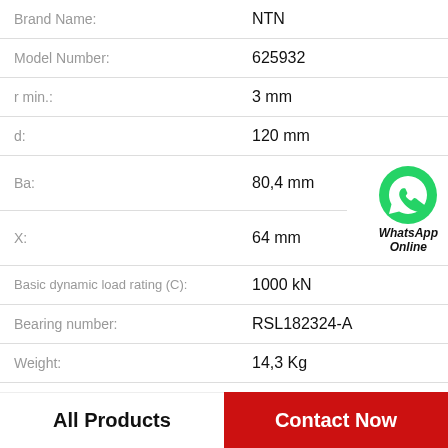| Property | Value |
| --- | --- |
| Brand Name: | NTN |
| Model Number: | 625932 |
| r min.: | 3 mm |
| d: | 120 mm |
| Ba: | 80,4 mm |
| X: | 64 mm |
| Basic dynamic load rating (C): | 1000 kN |
| Bearing number: | RSL182324-A |
| Weight: | 14,3 Kg |
All Products
Contact Now